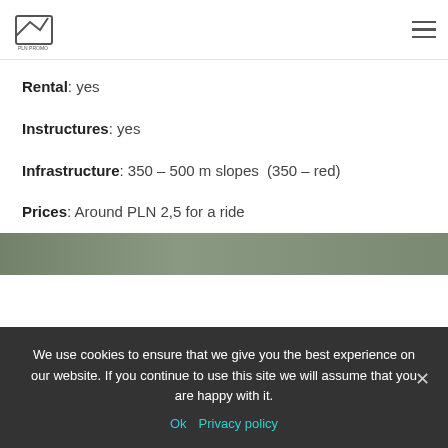PLN PROMO logo and navigation
Rental: yes
Instructures: yes
Infrastructure: 350 – 500 m slopes  (350 – red)
Prices: Around PLN 2,5 for a ride
Website
[Figure (photo): Partial view of a ski slope or outdoor winter scene photo strip]
We use cookies to ensure that we give you the best experience on our website. If you continue to use this site we will assume that you are happy with it.
Ok   Privacy policy